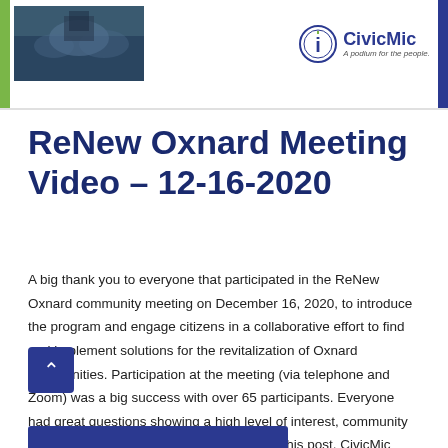CivicMic — A podium for the people.
ReNew Oxnard Meeting Video – 12-16-2020
A big thank you to everyone that participated in the ReNew Oxnard community meeting on December 16, 2020, to introduce the program and engage citizens in a collaborative effort to find and implement solutions for the revitalization of Oxnard communities. Participation at the meeting (via telephone and Zoom) was a big success with over 65 participants. Everyone had great questions showing a high level of interest, community pride, and engagement at the meeting.  In this post, CivicMic shares the video, slides, and chat for the meeting. ReNew Oxnard Program – Next Steps Next two weeks – The mailing and emailing of …